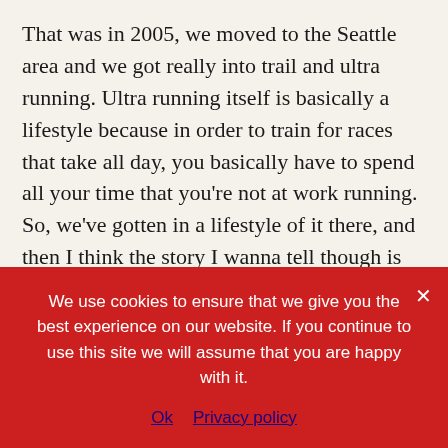That was in 2005, we moved to the Seattle area and we got really into trail and ultra running. Ultra running itself is basically a lifestyle because in order to train for races that take all day, you basically have to spend all your time that you're not at work running. So, we've gotten in a lifestyle of it there, and then I think the story I wanna tell though is that genesis moment when I connected the dots that this was a thing I was focusing my life on versus just a thing that doing for fun. In 2015, is when the dots connected. We'd gotten into trail running and had been pretty seriously into it for about five years by 2015, and we've done a lot of really long races. We've done 100-mile ultra marathons and a lot of
We use cookies to ensure that we give you the best experience on our website. If you continue to use this site we will assume that you are happy with it.
Ok   Privacy policy